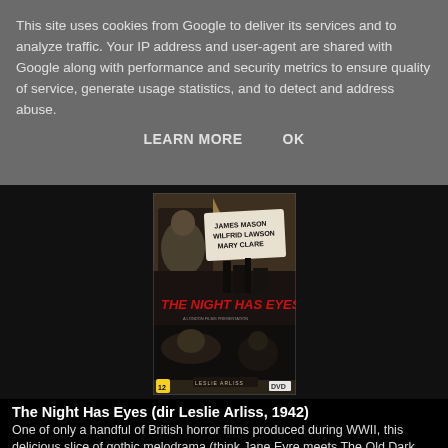This site uses cookies from Google to deliver its services and to analyze traffic. Your IP address and user-agent are shared with Google along with performance and security metrics to ensure quality of service, generate usage statistics, and to detect and address abuse.
LEARN MORE    OK
[Figure (photo): DVD cover of 'The Night Has Eyes' featuring James Mason, Wilfrid Lawson, Mary Clare. Black and white film noir style cover with bold red title text.]
The Night Has Eyes (dir Leslie Arliss, 1942)
One of only a handful of British horror films produced during WWII, this delicious slice of gothic melodrama (think Jane Eyre meets The Old Dark House) stars James Mason as